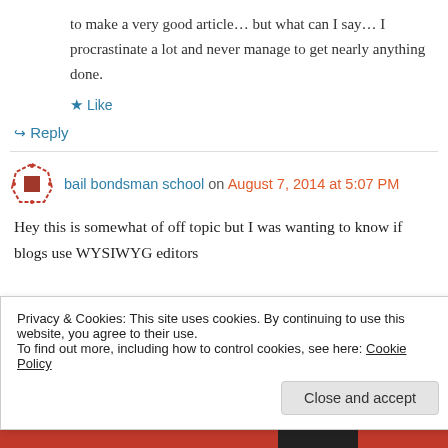to make a very good article… but what can I say… I procrastinate a lot and never manage to get nearly anything done.
★ Like
↪ Reply
bail bondsman school on August 7, 2014 at 5:07 PM
Hey this is somewhat of off topic but I was wanting to know if blogs use WYSIWYG editors
Privacy & Cookies: This site uses cookies. By continuing to use this website, you agree to their use.
To find out more, including how to control cookies, see here: Cookie Policy
Close and accept